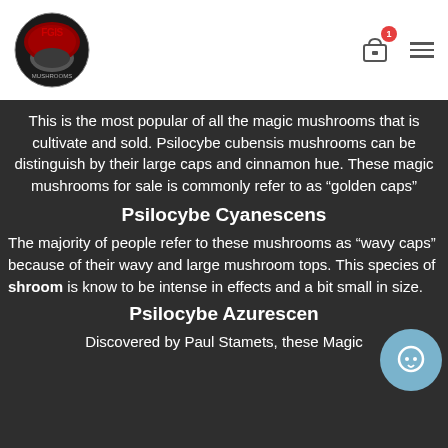FGIS [logo] — navigation with cart (1 item) and hamburger menu
This is the most popular of all the magic mushrooms that is cultivate and sold. Psilocybe cubensis mushrooms can be distinguish by their large caps and cinnamon hue. These magic mushrooms for sale is commonly refer to as “golden caps”
Psilocybe Cyanescens
The majority of people refer to these mushrooms as “wavy caps” because of their wavy and large mushroom tops. This species of shroom is know to be intense in effects and a bit small in size.
Psilocybe Azurescen
Discovered by Paul Stamets, these Magic